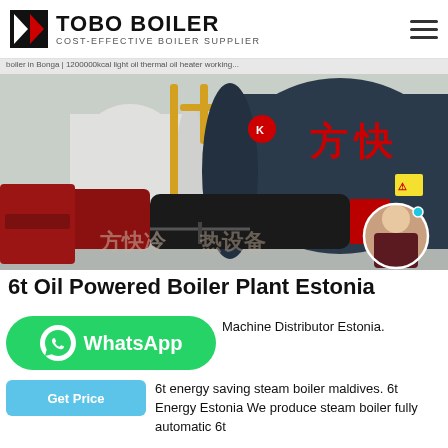TOBO BOILER – COST-EFFECTIVE BOILER SUPPLIER
boiler in Bonga | 1200000kcal light oil thermal oil heater working...
[Figure (photo): Industrial boiler plant showing multiple large cylindrical boilers. Foreground shows a large dark blue/grey horizontal boiler with Chinese characters (方快) and a red burner unit. Background shows white cylindrical boilers and yellow pipe scaffolding in an industrial facility. A chat avatar (woman) is visible in the bottom right corner of the image with a teal dot indicator.]
6t Oil Powered Boiler Plant Estonia
Machine Distributor Estonia.
6t energy saving steam boiler maldives. 6t Energy Estonia We produce steam boiler fully automatic 6t